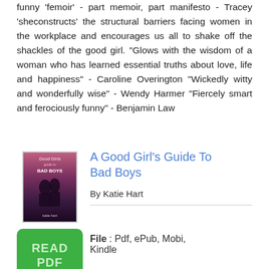funny 'femoir' - part memoir, part manifesto - Tracey 'sheconstructs' the structural barriers facing women in the workplace and encourages us all to shake off the shackles of the good girl. "Glows with the wisdom of a woman who has learned essential truths about love, life and happiness" - Caroline Overington "Wickedly witty and wonderfully wise" - Wendy Harmer "Fiercely smart and ferociously funny" - Benjamin Law
[Figure (illustration): Book cover of 'A Good Girl's Guide To Bad Boys' by Katie Hart, showing a romantic silhouette scene with dark purple/magenta tones]
A Good Girl's Guide To Bad Boys
By Katie Hart
[Figure (illustration): Green READ PDF button]
File : Pdf, ePub, Mobi, Kindle